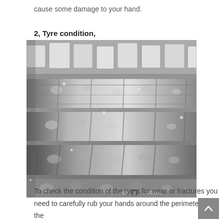cause some damage to your hand.
2, Tyre condition,
[Figure (photo): Close-up black and white photograph of a wet tyre tread showing the tyre surface with water droplets and tread grooves. Watermark reads FLIP2COMIC in the bottom right corner.]
To check the condition of the tyres for wear or fractures you need to carefully rub your hands around the perimeter of the